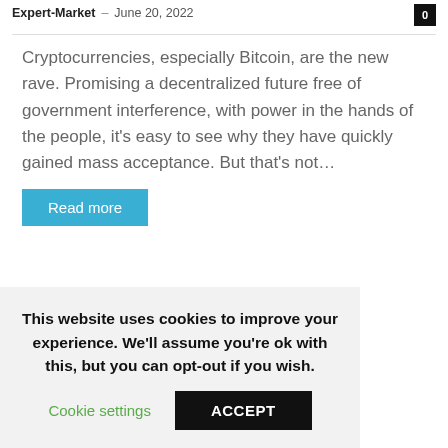Expert-Market – June 20, 2022
Cryptocurrencies, especially Bitcoin, are the new rave. Promising a decentralized future free of government interference, with power in the hands of the people, it's easy to see why they have quickly gained mass acceptance. But that's not…
Read more
This website uses cookies to improve your experience. We'll assume you're ok with this, but you can opt-out if you wish.
Cookie settings  ACCEPT